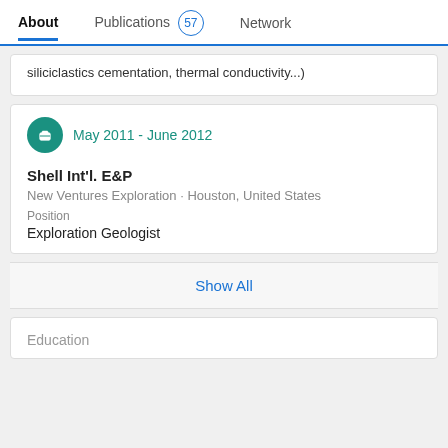About   Publications 57   Network
siliciclastics cementation, thermal conductivity...)
May 2011 - June 2012
Shell Int'l. E&P
New Ventures Exploration · Houston, United States
Position
Exploration Geologist
Show All
Education